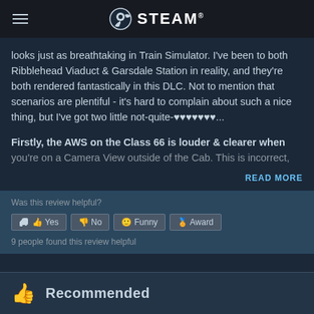STEAM
looks just as breathtaking in Train Simulator. I've been to both Ribblehead Viaduct & Garsdale Station in reality, and they're both rendered fantastically in this DLC. Not to mention that scenarios are plentiful - it's hard to complain about such a nice thing, but I've got two little not-quite-♥♥♥♥♥♥♥...
Firstly, the AWS on the Class 66 is louder & clearer when you're on a Camera View outside of the Cab. This is incorrect,
READ MORE
Was this review helpful?
Yes | No | Funny | Award
9 people found this review helpful
Recommended